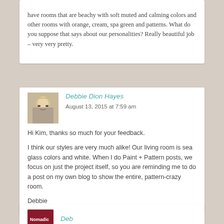have rooms that are beachy with soft muted and calming colors and other rooms with orange, cream, spa green and patterns. What do you suppose that says about our personalities? Really beautiful job – very very pretty.
Debbie Dion Hayes
August 13, 2015 at 7:59 am
Hi Kim, thanks so much for your feedback.

I think our styles are very much alike! Our living room is sea glass colors and white. When I do Paint + Pattern posts, we focus on just the project itself, so you are reminding me to do a post on my own blog to show the entire, pattern-crazy room.

Debbie
Deb